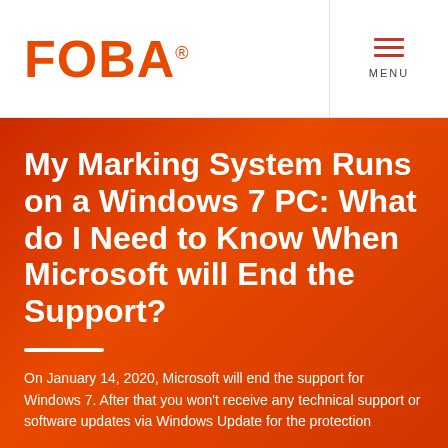[Figure (logo): FOBA logo in orange with registered trademark symbol]
MENU
My Marking System Runs on a Windows 7 PC: What do I Need to Know When Microsoft will End the Support?
On January 14, 2020, Microsoft will end the support for Windows 7. After that you won't receive any technical support or software updates via Windows Update for the protection